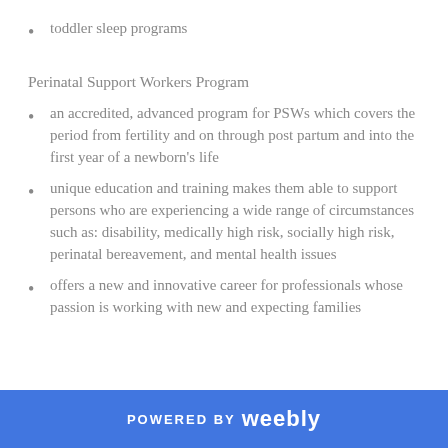toddler sleep programs
Perinatal Support Workers Program
an accredited, advanced program for PSWs which covers the period from fertility and on through post partum and into the first year of a newborn's life
unique education and training makes them able to support persons who are experiencing a wide range of circumstances such as: disability, medically high risk, socially high risk, perinatal bereavement, and mental health issues
offers a new and innovative career for professionals whose passion is working with new and expecting families
POWERED BY weebly